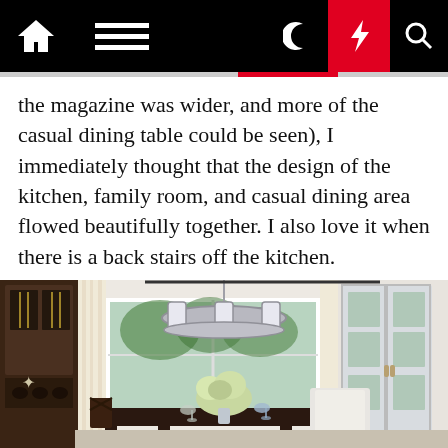[Navigation bar with home, menu, moon, lightning, and search icons]
the magazine was wider, and more of the casual dining table could be seen), I immediately thought that the design of the kitchen, family room, and casual dining area flowed beautifully together. I also love it when there is a back stairs off the kitchen.
[Figure (photo): Interior dining room photo showing a round chandelier with glass cylinders hanging over a dark wood dining table with cross-back chairs and white slip-covered chairs. White hydrangea centerpiece on table. Large windows with cream curtains in background, French doors on right, dark wood built-in cabinet on left.]